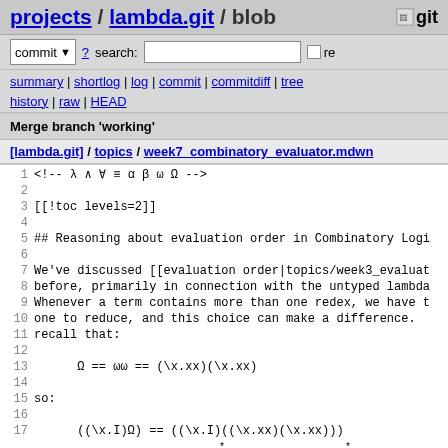projects / lambda.git / blob  git
commit  ? search:   re
summary | shortlog | log | commit | commitdiff | tree  history | raw | HEAD
Merge branch 'working'
[lambda.git] / topics / week7_combinatory_evaluator.mdwn
[Figure (screenshot): Source code viewer showing file contents with line numbers 1-19. Lines include lambda calculus notation and Markdown source text.]